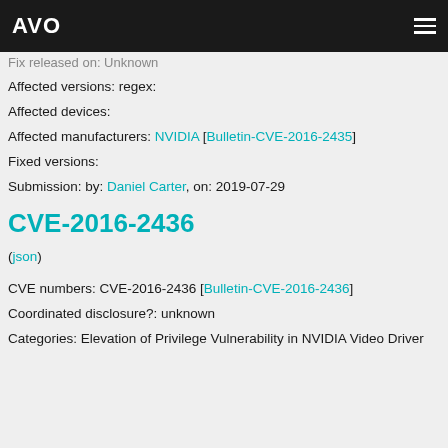AVO
Fix released on: Unknown
Affected versions: regex:
Affected devices:
Affected manufacturers: NVIDIA [Bulletin-CVE-2016-2435]
Fixed versions:
Submission: by: Daniel Carter, on: 2019-07-29
CVE-2016-2436
(json)
CVE numbers: CVE-2016-2436 [Bulletin-CVE-2016-2436]
Coordinated disclosure?: unknown
Categories: Elevation of Privilege Vulnerability in NVIDIA Video Driver